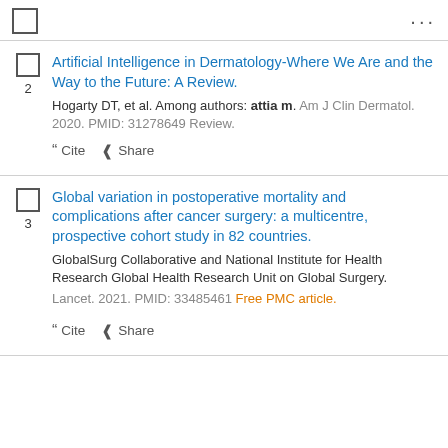...
2. Artificial Intelligence in Dermatology-Where We Are and the Way to the Future: A Review. Hogarty DT, et al. Among authors: attia m. Am J Clin Dermatol. 2020. PMID: 31278649 Review.
3. Global variation in postoperative mortality and complications after cancer surgery: a multicentre, prospective cohort study in 82 countries. GlobalSurg Collaborative and National Institute for Health Research Global Health Research Unit on Global Surgery. Lancet. 2021. PMID: 33485461 Free PMC article.